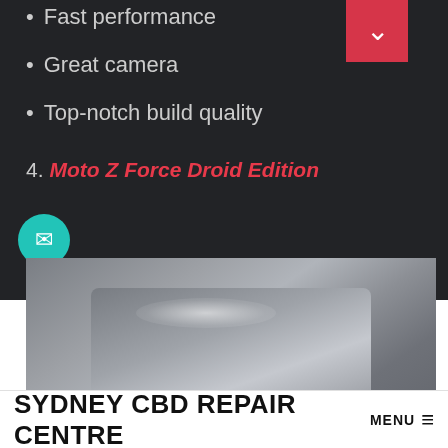Fast performance
Great camera
Top-notch build quality
4. Moto Z Force Droid Edition
[Figure (photo): Photo of a Moto Z Force Droid Edition smartphone, shown at an angle against a grey background]
SYDNEY CBD REPAIR CENTRE MENU ≡